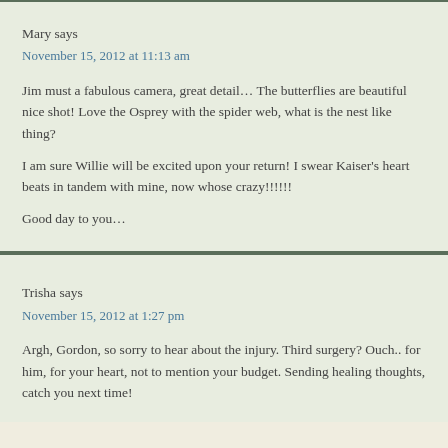Mary says
November 15, 2012 at 11:13 am
Jim must a fabulous camera, great detail… The butterflies are beautiful nice shot! Love the Osprey with the spider web, what is the nest like thing?
I am sure Willie will be excited upon your return! I swear Kaiser's heart beats in tandem with mine, now whose crazy!!!!!!
Good day to you…
Trisha says
November 15, 2012 at 1:27 pm
Argh, Gordon, so sorry to hear about the injury. Third surgery? Ouch.. for him, for your heart, not to mention your budget. Sending healing thoughts, catch you next time!